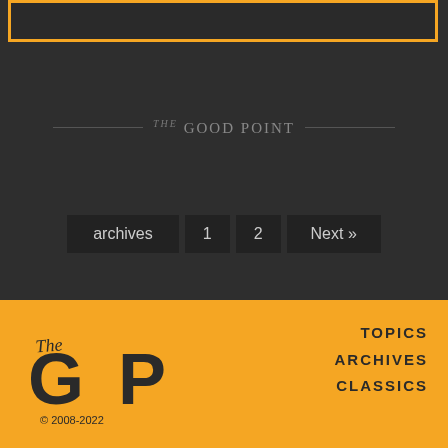[Figure (other): Orange-bordered rectangle/box at top of page on dark background]
[Figure (logo): The Good Point logo with decorative text and horizontal divider lines on dark background]
archives  1  2  Next »
[Figure (logo): The GP logo in dark text on orange background footer]
© 2008-2022
TOPICS
ARCHIVES
CLASSICS